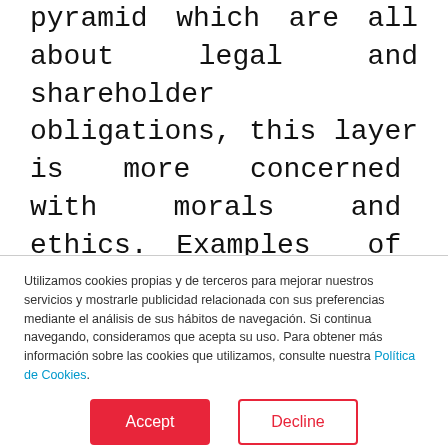pyramid which are all about legal and shareholder obligations, this layer is more concerned with morals and ethics. Examples of ethical responsibility include being environmentally friendly, treating employees and suppliers in line with an ethical code of conduct, and embracing activities and standards that
Utilizamos cookies propias y de terceros para mejorar nuestros servicios y mostrarle publicidad relacionada con sus preferencias mediante el análisis de sus hábitos de navegación. Si continua navegando, consideramos que acepta su uso. Para obtener más información sobre las cookies que utilizamos, consulte nuestra Política de Cookies.